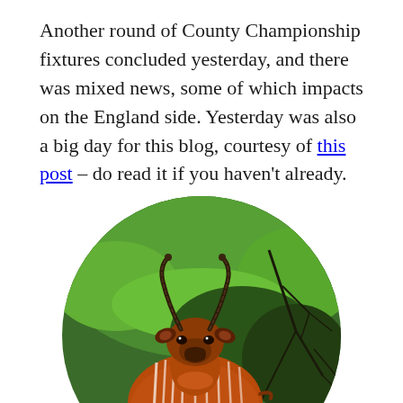Another round of County Championship fixtures concluded yesterday, and there was mixed news, some of which impacts on the England side. Yesterday was also a big day for this blog, courtesy of this post – do read it if you haven't already.
[Figure (photo): A circular cropped photograph of a bongo antelope (reddish-brown with white vertical stripes and curved horns) standing in a lush green bush/forest environment, viewed from the front-left angle.]